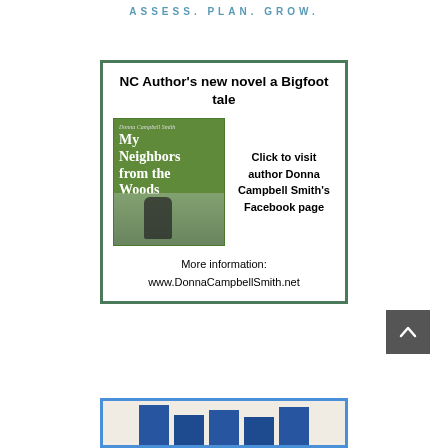ASSESS. PLAN. GROW.
[Figure (illustration): Advertisement box with green border for book 'My Neighbors from the Woods' by Donna Campbell Smith. Contains book cover image showing a Bigfoot-like figure in woods with green background, title text 'NC Author's new novel a Bigfoot tale', click to visit Facebook page text, and website URL.]
NC Author's new novel a Bigfoot tale
Click to visit author Donna Campbell Smith's Facebook page
More information: www.DonnaCampbellSmith.net
[Figure (photo): Partial bottom banner image showing what appears to be books or colorful items, partially cut off at bottom of page.]